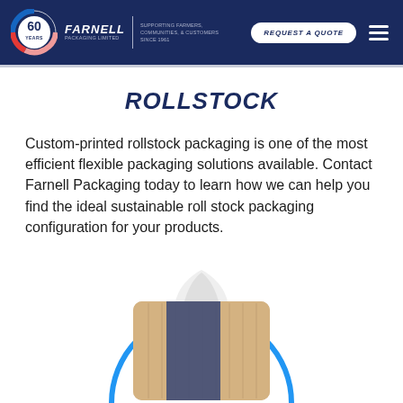Farnell Packaging Limited — 60 Years — Supporting Farmers, Communities, & Customers Since 1961 — REQUEST A QUOTE
ROLLSTOCK
Custom-printed rollstock packaging is one of the most efficient flexible packaging solutions available. Contact Farnell Packaging today to learn how we can help you find the ideal sustainable roll stock packaging configuration for your products.
[Figure (photo): A loaf of sliced bread in clear plastic rollstock packaging with a blue band, partially cut off at the bottom of the page, with a blue circle graphic behind it.]